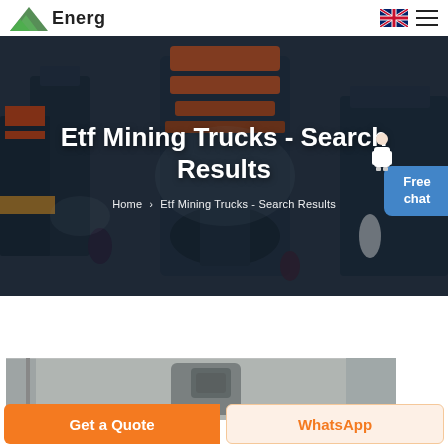Energ  [logo] [UK flag] [hamburger menu]
Etf Mining Trucks - Search Results
Home > Etf Mining Trucks - Search Results
[Figure (photo): Industrial factory/plant hero banner background with machinery and workers in dark tones]
Free chat
[Figure (photo): Product image showing industrial mining equipment in a warehouse setting]
Get a Quote
WhatsApp